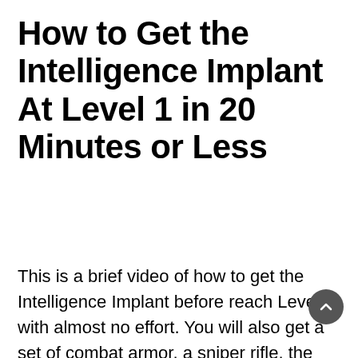How to Get the Intelligence Implant At Level 1 in 20 Minutes or Less
This is a brief video of how to get the Intelligence Implant before reach Level 2 with almost no effort. You will also get a set of combat armor, a sniper rifle, the Lucky 38 Suite for a residence and some extra money